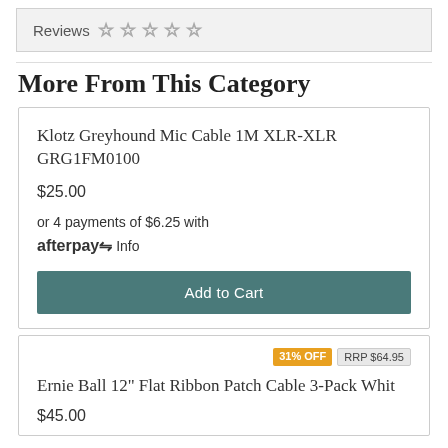Reviews ☆ ☆ ☆ ☆ ☆
More From This Category
Klotz Greyhound Mic Cable 1M XLR-XLR GRG1FM0100
$25.00
or 4 payments of $6.25 with afterpay Info
Add to Cart
31% OFF  RRP $64.95
Ernie Ball 12" Flat Ribbon Patch Cable 3-Pack Whit
$45.00